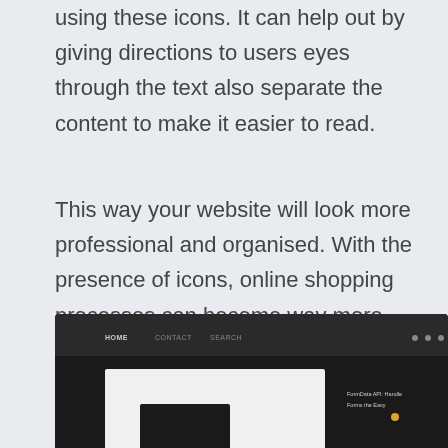using these icons. It can help out by giving directions to users eyes through the text also separate the content to make it easier to read.
This way your website will look more professional and organised. With the presence of icons, online shopping processes can become way more easier as it can visually communicate with the users and describe more than just words.
[Figure (screenshot): Screenshot of a dark-themed website interface showing a navigation bar with HOME, CONTACT, SEARCH links, and a partial view of a white content area with some text visible in the bottom right.]